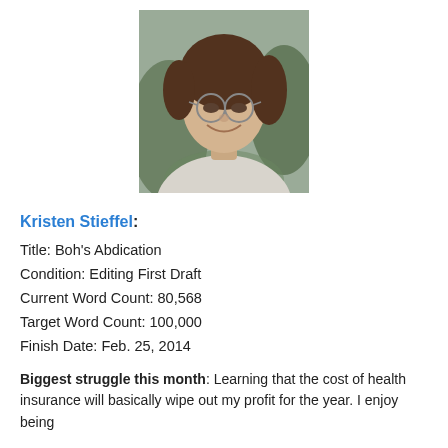[Figure (photo): Portrait photo of Kristen Stieffel, a woman with glasses and brown hair pulled back, wearing a light-colored top, smiling at the camera. Green plant visible in background.]
Kristen Stieffel:
Title: Boh's Abdication
Condition: Editing First Draft
Current Word Count: 80,568
Target Word Count: 100,000
Finish Date: Feb. 25, 2014
Biggest struggle this month: Learning that the cost of health insurance will basically wipe out my profit for the year. I enjoy being